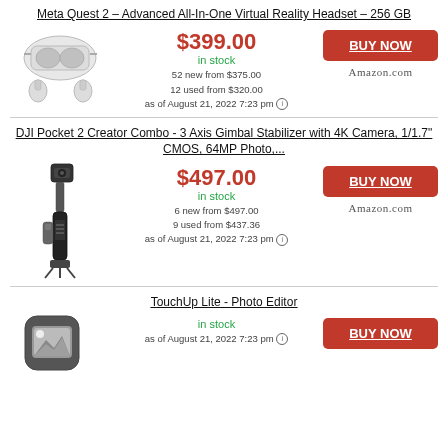Meta Quest 2 – Advanced All-In-One Virtual Reality Headset – 256 GB
[Figure (photo): Meta Quest 2 VR headset with controllers]
$399.00
in stock
52 new from $375.00
12 used from $320.00
as of August 21, 2022 7:23 pm
BUY NOW
Amazon.com
DJI Pocket 2 Creator Combo - 3 Axis Gimbal Stabilizer with 4K Camera, 1/1.7" CMOS, 64MP Photo,...
[Figure (photo): DJI Pocket 2 gimbal camera]
$497.00
in stock
6 new from $497.00
9 used from $437.36
as of August 21, 2022 7:23 pm
BUY NOW
Amazon.com
TouchUp Lite - Photo Editor
[Figure (screenshot): TouchUp Lite app icon]
in stock
as of August 21, 2022 7:23 pm
BUY NOW